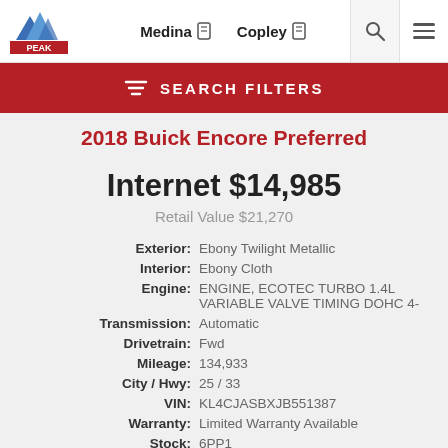PEAK | Medina | Copley
SEARCH FILTERS
2018 Buick Encore Preferred
Internet $14,985
Retail Value $21,270
| Label | Value |
| --- | --- |
| Exterior: | Ebony Twilight Metallic |
| Interior: | Ebony Cloth |
| Engine: | ENGINE, ECOTEC TURBO 1.4L VARIABLE VALVE TIMING DOHC 4- |
| Transmission: | Automatic |
| Drivetrain: | Fwd |
| Mileage: | 134,933 |
| City / Hwy: | 25 / 33 |
| VIN: | KL4CJASBXJB551387 |
| Warranty: | Limited Warranty Available |
| Stock: | 6PP1 |